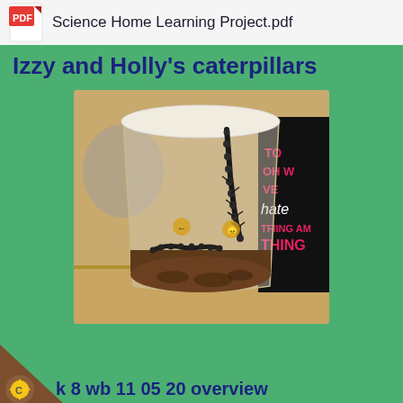Science Home Learning Project.pdf
Izzy and Holly's caterpillars
[Figure (photo): A clear plastic cup containing caterpillars and brown substrate/food material. One caterpillar is climbing up the side of the cup. A book with colorful text is visible in the background.]
k 8 wb 11 05 20 overview